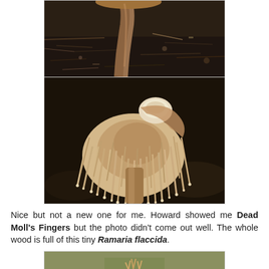[Figure (photo): Close-up photo of mushroom stalk base on dark soil/leaf litter, cropped at top, showing brown mushroom stem]
[Figure (photo): Close-up macro photo of Ramaria flaccida coral fungus showing cream/beige spiky branching teeth, viewed from below/side against dark background]
Nice but not a new one for me. Howard showed me Dead Moll's Fingers but the photo didn't come out well. The whole wood is full of this tiny Ramaria flaccida.
[Figure (photo): Partially visible photo at bottom of page showing small mushroom or fungus on forest floor, partially cut off]